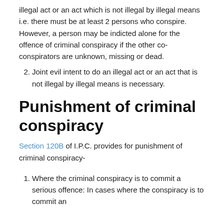illegal act or an act which is not illegal by illegal means i.e. there must be at least 2 persons who conspire. However, a person may be indicted alone for the offence of criminal conspiracy if the other co-conspirators are unknown, missing or dead.
2. Joint evil intent to do an illegal act or an act that is not illegal by illegal means is necessary.
Punishment of criminal conspiracy
Section 120B of I.P.C. provides for punishment of criminal conspiracy-
1. Where the criminal conspiracy is to commit a serious offence: In cases where the conspiracy is to commit an